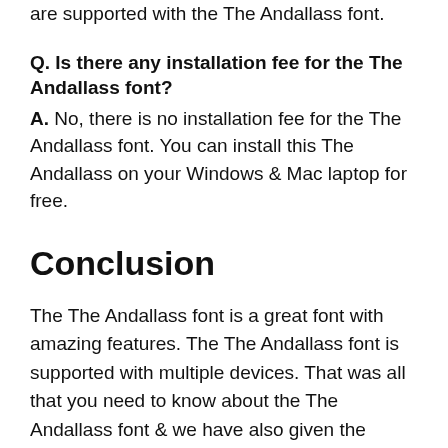are supported with the The Andallass font.
Q. Is there any installation fee for the The Andallass font?
A. No, there is no installation fee for the The Andallass font. You can install this The Andallass on your Windows & Mac laptop for free.
Conclusion
The The Andallass font is a great font with amazing features. The The Andallass font is supported with multiple devices. That was all that you need to know about the The Andallass font & we have also given the FAQs to clear your doubts. We hope you liked